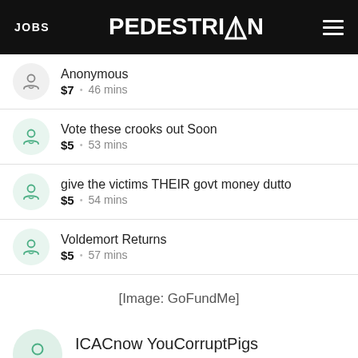JOBS | PEDESTRIAN | menu
Anonymous · $7 · 46 mins
Vote these crooks out Soon · $5 · 53 mins
give the victims THEIR govt money dutto · $5 · 54 mins
Voldemort Returns · $5 · 57 mins
[Image: GoFundMe]
ICACnow YouCorruptPigs · $5 · 20 mins ago